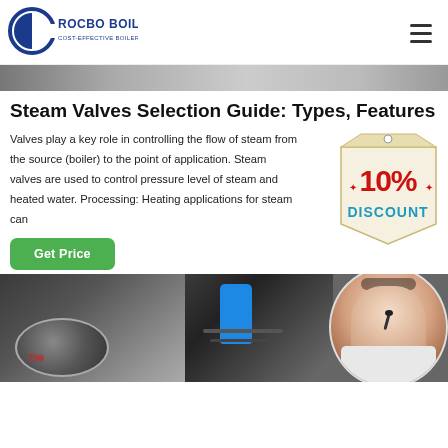[Figure (logo): Rocbo Boiler logo — circular C-shape emblem with text ROCBO BOILER and subtitle COST-EFFECTIVE BOILER SUPPLIER]
[Figure (photo): Decorative top banner strip showing partial photo of people]
Steam Valves Selection Guide: Types, Features
Valves play a key role in controlling the flow of steam from the source (boiler) to the point of application. Steam valves are used to control pressure level of steam and heated water. Processing: Heating applications for steam can
[Figure (illustration): 10% DISCOUNT promotional badge in red and teal colors]
[Figure (photo): Get Price green button]
[Figure (photo): Bottom collage of three images: industrial boiler equipment on left, blue cylinder equipment in middle, female customer service representative with headset in circular frame on right]